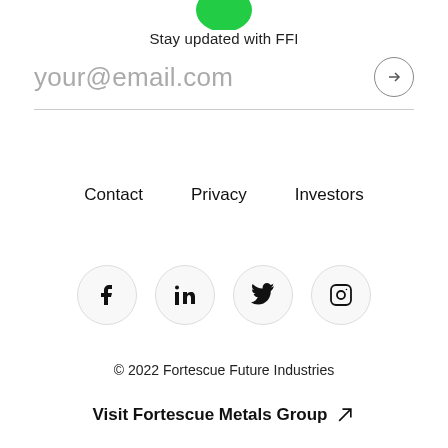[Figure (logo): Partial green FFI logo at top of page]
Stay updated with FFI
your@email.com
Contact    Privacy    Investors
[Figure (infographic): Social media icons: Facebook, LinkedIn, Twitter, Instagram]
© 2022 Fortescue Future Industries
Visit Fortescue Metals Group ↗